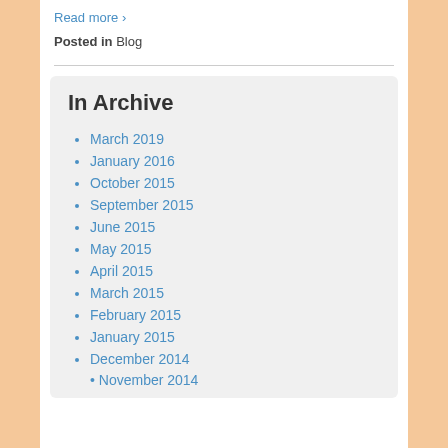Read more ›
Posted in Blog
In Archive
March 2019
January 2016
October 2015
September 2015
June 2015
May 2015
April 2015
March 2015
February 2015
January 2015
December 2014
November 2014